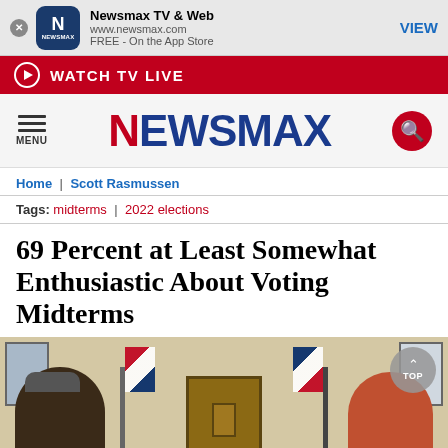[Figure (screenshot): App store banner for Newsmax TV & Web app showing logo, URL www.newsmax.com, FREE - On the App Store, and VIEW button]
WATCH TV LIVE
[Figure (logo): Newsmax logo with hamburger menu icon on left and search icon on right]
Home | Scott Rasmussen
Tags: midterms | 2022 elections
69 Percent at Least Somewhat Enthusiastic About Voting Midterms
[Figure (photo): People voting at a polling station with American flags and wooden doors in background, TOP button visible in upper right]